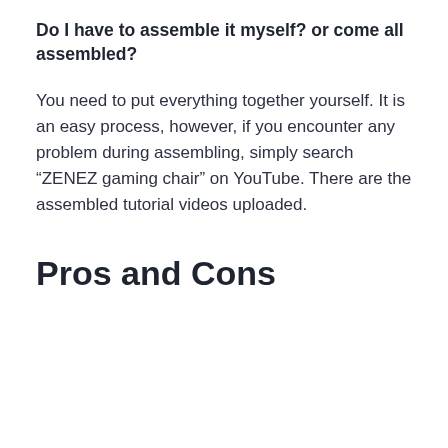Do I have to assemble it myself? or come all assembled?
You need to put everything together yourself. It is an easy process, however, if you encounter any problem during assembling, simply search “ZENEZ gaming chair” on YouTube. There are the assembled tutorial videos uploaded.
Pros and Cons